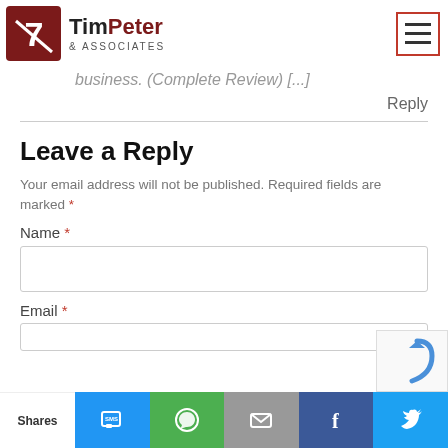TimPeter & Associates
business. (Complete Review) [...]
Reply
Leave a Reply
Your email address will not be published. Required fields are marked *
Name *
Email *
Shares